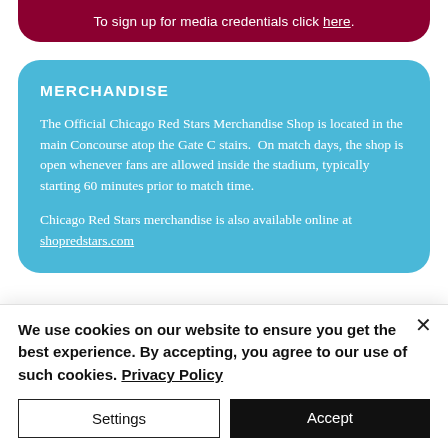To sign up for media credentials click here.
MERCHANDISE
The Official Chicago Red Stars Merchandise Shop is located in the main Concourse atop the Gate C stairs. On match days, the shop is open whenever fans are allowed inside the stadium, typically starting 60 minutes prior to match time.
Chicago Red Stars merchandise is also available online at shopredstars.com
PARKING
We use cookies on our website to ensure you get the best experience. By accepting, you agree to our use of such cookies. Privacy Policy
Settings
Accept